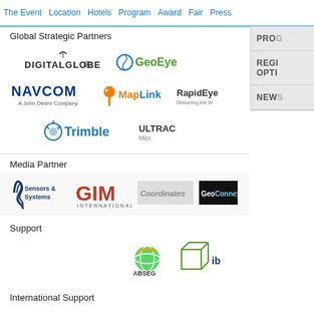The Event  Location  Hotels  Program  Award  Fair  Press
Global Strategic Partners
[Figure (logo): Logos of Global Strategic Partners: DigitalGlobe, GeoEye, GE (partial), NAVCOM A John Deere Company, MapLink, RapidEye, Trimble, ULTRACAM Micro (partial)]
Media Partner
[Figure (logo): Media partner logos: Sensors & Systems, GIM International, Coordinates, GeoConnexion]
Support
[Figure (logo): Support logos: ABSEG (globe icon), ibr (partial)]
International Support
[Figure (logo): OGC logo (partial)]